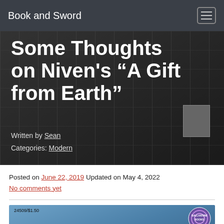Book and Sword
Some Thoughts on Niven's “A Gift from Earth”
Written by Sean
Categories: Modern
Posted on June 22, 2019 Updated on May 4, 2022
No comments yet
[Figure (photo): Blue paperback book cover showing Ballantine Books badge and text: '24509/$1.50 An exciting novel of adventure and intrigue by the award-winning author of Ringworld']